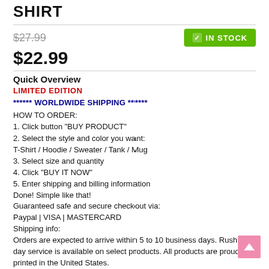SHIRT
$27.99
IN STOCK
$22.99
Quick Overview
LIMITED EDITION
****** WORLDWIDE SHIPPING ******
HOW TO ORDER:
1. Click button "BUY PRODUCT"
2. Select the style and color you want:
T-Shirt / Hoodie / Sweater / Tank / Mug
3. Select size and quantity
4. Click "BUY IT NOW"
5. Enter shipping and billing information
Done! Simple like that!
Guaranteed safe and secure checkout via:
Paypal | VISA | MASTERCARD
Shipping info:
Orders are expected to arrive within 5 to 10 business days. Rush 3-day service is available on select products. All products are proudly printed in the United States.